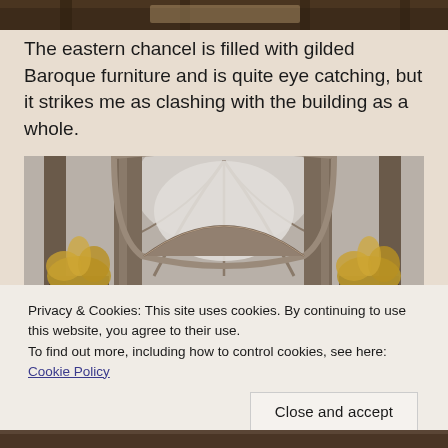[Figure (photo): Partial top view of a church interior with wooden elements, cropped at top of page]
The eastern chancel is filled with gilded Baroque furniture and is quite eye catching, but it strikes me as clashing with the building as a whole.
[Figure (photo): Interior of a Gothic cathedral showing ribbed vaulting, arched nave, stone columns, and gilded decorative elements at the sides]
Privacy & Cookies: This site uses cookies. By continuing to use this website, you agree to their use.
To find out more, including how to control cookies, see here: Cookie Policy
[Figure (photo): Partial bottom view of church interior, cropped at bottom of page]